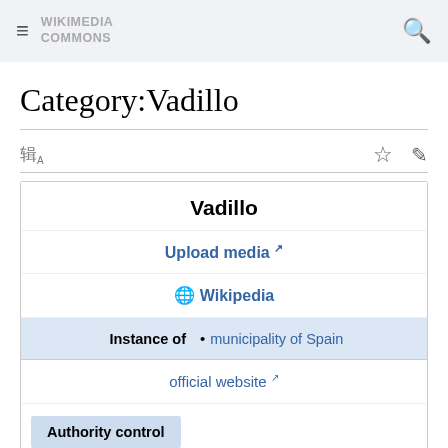Wikimedia Commons
Category:Vadillo
| Vadillo |
| Upload media ↗ |
| 🌐 Wikipedia |
| Instance of | • municipality of Spain |
| official website ↗ |
| Authority control |